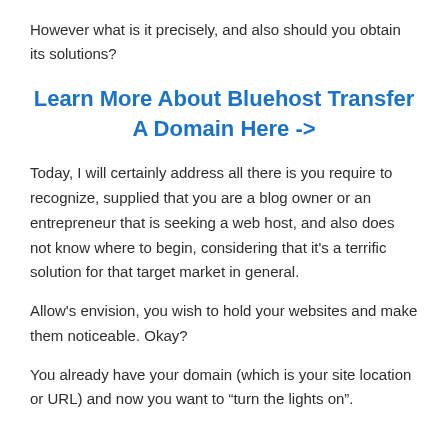However what is it precisely, and also should you obtain its solutions?
Learn More About Bluehost Transfer A Domain Here ->
Today, I will certainly address all there is you require to recognize, supplied that you are a blog owner or an entrepreneur that is seeking a web host, and also does not know where to begin, considering that it's a terrific solution for that target market in general.
Allow's envision, you wish to hold your websites and make them noticeable. Okay?
You already have your domain (which is your site location or URL) and now you want to “turn the lights on”.